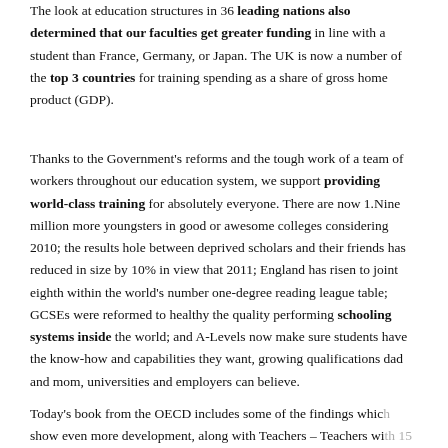The look at education structures in 36 leading nations also determined that our faculties get greater funding in line with a student than France, Germany, or Japan. The UK is now a number of the top 3 countries for training spending as a share of gross home product (GDP).
Thanks to the Government's reforms and the tough work of a team of workers throughout our education system, we support providing world-class training for absolutely everyone. There are now 1.Nine million more youngsters in good or awesome colleges considering 2010; the results hole between deprived scholars and their friends has reduced in size by 10% in view that 2011; England has risen to joint eighth within the world's number one-degree reading league table; GCSEs were reformed to healthy the quality performing schooling systems inside the world; and A-Levels now make sure students have the know-how and capabilities they want, growing qualifications dad and mom, universities and employers can believe.
Today's book from the OECD includes some of the findings which show even more development, along with Teachers – Teachers with 15 years' enjoy not best earn extra than the OECD common, but